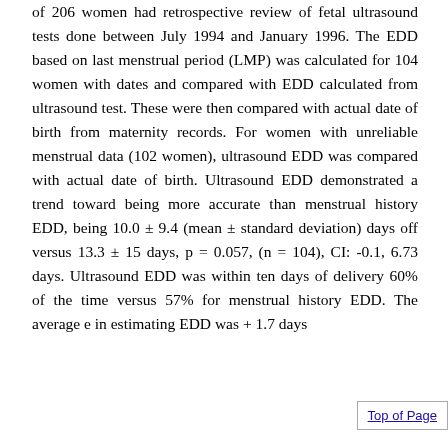of 206 women had retrospective review of fetal ultrasound tests done between July 1994 and January 1996. The EDD based on last menstrual period (LMP) was calculated for 104 women with dates and compared with EDD calculated from ultrasound test. These were then compared with actual date of birth from maternity records. For women with unreliable menstrual data (102 women), ultrasound EDD was compared with actual date of birth. Ultrasound EDD demonstrated a trend toward being more accurate than menstrual history EDD, being 10.0 ± 9.4 (mean ± standard deviation) days off versus 13.3 ± 15 days, p = 0.057, (n = 104), CI: -0.1, 6.73 days. Ultrasound EDD was within ten days of delivery 60% of the time versus 57% for menstrual history EDD. The average e in estimating EDD was + 1.7 days
Top of Page